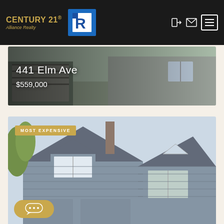[Figure (logo): Century 21 Alliance Realty logo in gold/amber text on dark background]
[Figure (logo): National Association of Realtors blue R logo]
[Figure (photo): House exterior photo with address 441 Elm Ave and price $559,000 overlaid in white text]
441 Elm Ave
$559,000
[Figure (photo): House exterior photo labeled MOST EXPENSIVE, showing gray house with multiple gabled rooflines]
MOST EXPENSIVE